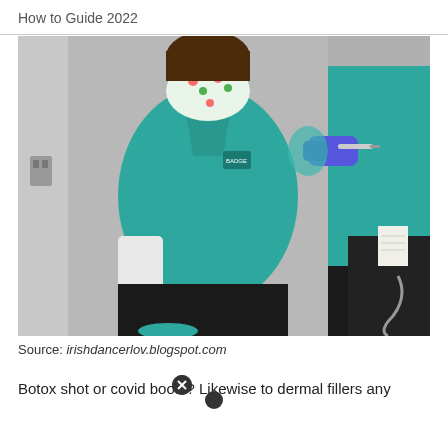How to Guide 2022
[Figure (photo): A healthcare worker in teal scrubs and a floral face mask receiving a vaccination shot in the upper arm from another person in teal scrubs wearing blue gloves. The patient is seated with hands folded, wearing a white compression sleeve on one arm.]
Source: irishdancerlov.blogspot.com
Botox shot or covid boost? Likewise to dermal fillers any